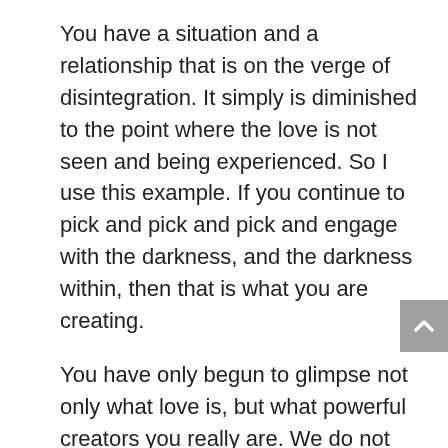You have a situation and a relationship that is on the verge of disintegration. It simply is diminished to the point where the love is not seen and being experienced. So I use this example. If you continue to pick and pick and pick and engage with the darkness, and the darkness within, then that is what you are creating.
You have only begun to glimpse not only what love is, but what powerful creators you really are. We do not enter into sacred partnerships to create a new world, Nova Earth, Nova Gaia, Nova Being, with junior partners who do not know which end is up.
Does this division within the lightworker